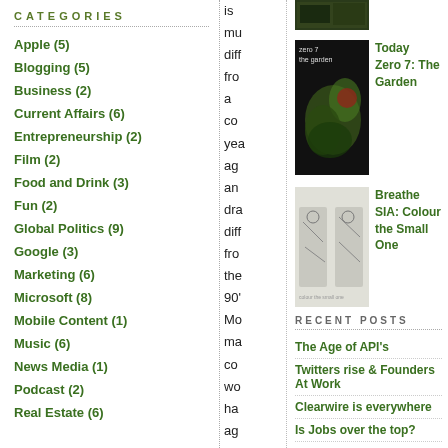CATEGORIES
Apple (5)
Blogging (5)
Business (2)
Current Affairs (6)
Entrepreneurship (2)
Film (2)
Food and Drink (3)
Fun (2)
Global Politics (9)
Google (3)
Marketing (6)
Microsoft (8)
Mobile Content (1)
Music (6)
News Media (1)
Podcast (2)
Real Estate (6)
[Figure (photo): Top partial image - dark green/photo cropped at top]
[Figure (photo): Zero 7: The Garden album art - dark background with illustrated figure]
Today
Zero 7: The Garden
[Figure (photo): Breathe SIA: Colour the Small One album art - white/cream background with sketched illustrations]
Breathe SIA: Colour the Small One
RECENT POSTS
The Age of API's
Twitters rise & Founders At Work
Clearwire is everywhere
Is Jobs over the top?
The Tipping Point of Web Apps
Web 2.0 in Five Minutes
is
mu
diff
fro
a
co
yea
ag
an
dra
diff
fro
the
90'
Mo
ma
co
wo
ha
ag
in
the
90'